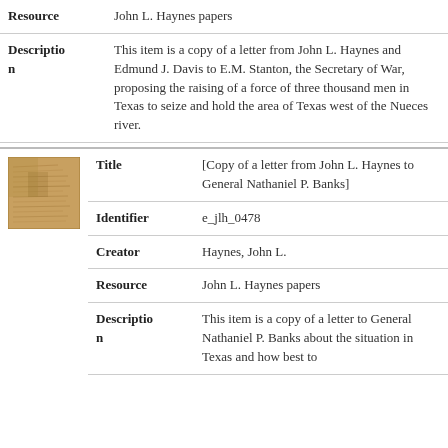| Field | Value |
| --- | --- |
| Resource | John L. Haynes papers |
| Description | This item is a copy of a letter from John L. Haynes and Edmund J. Davis to E.M. Stanton, the Secretary of War, proposing the raising of a force of three thousand men in Texas to seize and hold the area of Texas west of the Nueces river. |
[Figure (photo): Thumbnail image of a historical document with aged brown/tan paper texture]
| Field | Value |
| --- | --- |
| Title | [Copy of a letter from John L. Haynes to General Nathaniel P. Banks] |
| Identifier | e_jlh_0478 |
| Creator | Haynes, John L. |
| Resource | John L. Haynes papers |
| Description | This item is a copy of a letter to General Nathaniel P. Banks about the situation in Texas and how best to |